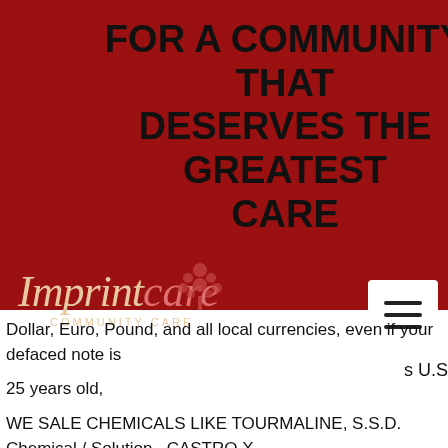FOR A COMMUNITY THAT DESERVES THE GREATEST CARE
[Figure (logo): Imprint Care Community Care logo with red background and decorative tree icon]
u, that
nk
ls
s U.S Dollar, Euro, Pound, and all local currencies, even if your defaced note is

25 years old,

WE SALE CHEMICALS LIKE TOURMALINE, S.S.D. Chemical / Solution , CASTRO X

OXIDE, A4. AND MANY Like ACTIVATION POWDER & SSD SOLUTION FOR CLEANING